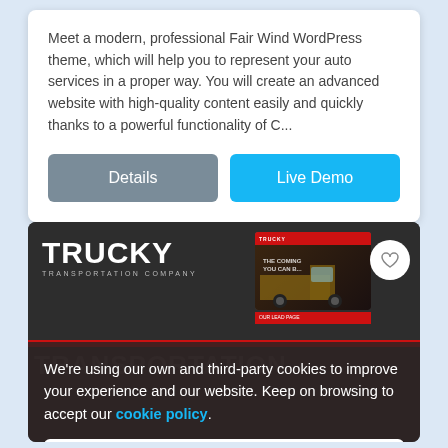Meet a modern, professional Fair Wind WordPress theme, which will help you to represent your auto services in a proper way. You will create an advanced website with high-quality content easily and quickly thanks to a powerful functionality of C...
[Figure (screenshot): Two buttons: 'Details' (grey) and 'Live Demo' (blue)]
[Figure (screenshot): Trucky Transportation Company WordPress theme preview showing logo, truck image thumbnail with heart button, red stripe, and cookie consent overlay with Accept button]
We're using our own and third-party cookies to improve your experience and our website. Keep on browsing to accept our cookie policy.